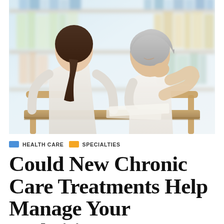[Figure (photo): A doctor in a white coat sits with her back to the camera across a wooden desk from an older female patient with gray hair who is touching her neck/shoulder area, suggesting pain. Bookshelves with colorful books are visible in the blurred background.]
HEALTH CARE   SPECIALTIES
Could New Chronic Care Treatments Help Manage Your Arthritis?